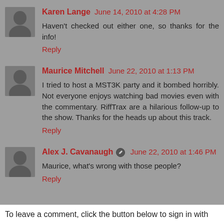Karen Lange  June 14, 2010 at 4:28 PM
Haven't checked out either one, so thanks for the info!
Reply
Maurice Mitchell  June 22, 2010 at 1:13 PM
I tried to host a MST3K party and it bombed horribly. Not everyone enjoys watching bad movies even with the commentary. RiffTrax are a hilarious follow-up to the show. Thanks for the heads up about this track.
Reply
Alex J. Cavanaugh  June 22, 2010 at 1:46 PM
Maurice, what's wrong with those people?
Reply
To leave a comment, click the button below to sign in with